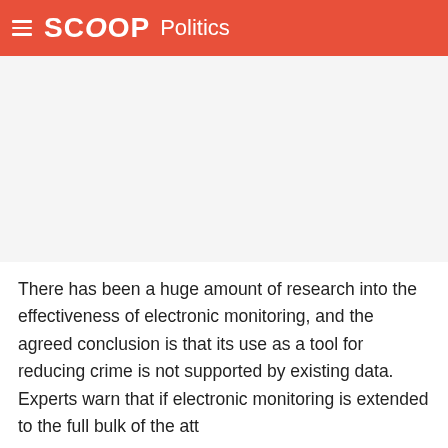SCOOP Politics
[Figure (photo): Photo placeholder area (white/light gray rectangle, appears to be a news article image)]
There has been a huge amount of research into the effectiveness of electronic monitoring, and the agreed conclusion is that its use as a tool for reducing crime is not supported by existing data. Experts warn that if electronic monitoring is extended to the full bulk of the att...